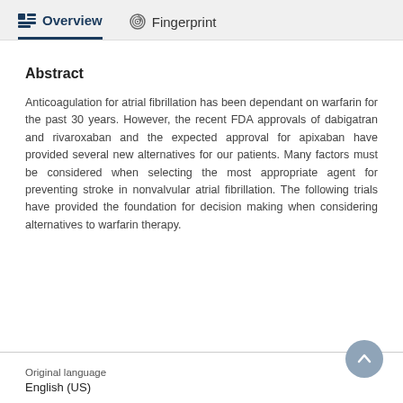Overview  Fingerprint
Abstract
Anticoagulation for atrial fibrillation has been dependant on warfarin for the past 30 years. However, the recent FDA approvals of dabigatran and rivaroxaban and the expected approval for apixaban have provided several new alternatives for our patients. Many factors must be considered when selecting the most appropriate agent for preventing stroke in nonvalvular atrial fibrillation. The following trials have provided the foundation for decision making when considering alternatives to warfarin therapy.
Original language
English (US)